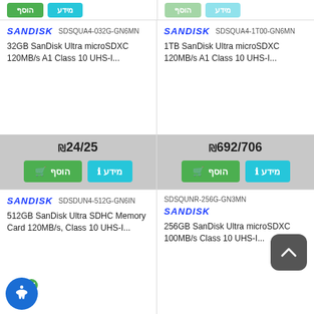[Figure (screenshot): Product card: SanDisk SDSQUA4-032G-GN6MN - 32GB SanDisk Ultra microSDXC 120MB/s A1 Class 10 UHS-I... Price ₪24/25 with Add and Info buttons]
[Figure (screenshot): Product card: SanDisk SDSQUA4-1T00-GN6MN - 1TB SanDisk Ultra microSDXC 120MB/s A1 Class 10 UHS-I... Price ₪692/706 with Add and Info buttons]
[Figure (screenshot): Product card: SanDisk SDSDUN4-512G-GN6IN - 512GB SanDisk Ultra SDHC Memory Card 120MB/s, Class 10 UHS-I...]
[Figure (screenshot): Product card: SDSQUNR-256G-GN3MN SanDisk - 256GB SanDisk Ultra microSDXC 100MB/s Class 10 UHS-I...]